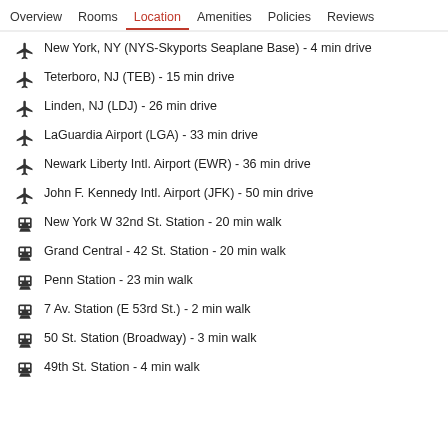Overview  Rooms  Location  Amenities  Policies  Reviews
New York, NY (NYS-Skyports Seaplane Base) - 4 min drive
Teterboro, NJ (TEB) - 15 min drive
Linden, NJ (LDJ) - 26 min drive
LaGuardia Airport (LGA) - 33 min drive
Newark Liberty Intl. Airport (EWR) - 36 min drive
John F. Kennedy Intl. Airport (JFK) - 50 min drive
New York W 32nd St. Station - 20 min walk
Grand Central - 42 St. Station - 20 min walk
Penn Station - 23 min walk
7 Av. Station (E 53rd St.) - 2 min walk
50 St. Station (Broadway) - 3 min walk
49th St. Station - 4 min walk